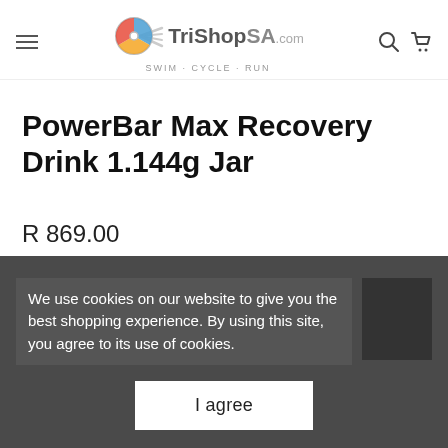TriShopSA.com SWIM · CYCLE · RUN
PowerBar Max Recovery Drink 1.144g Jar
R 869.00
We use cookies on our website to give you the best shopping experience. By using this site, you agree to its use of cookies.
I agree